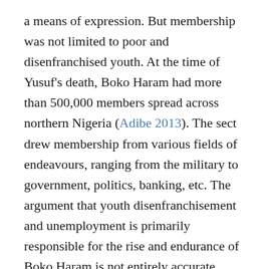a means of expression. But membership was not limited to poor and disenfranchised youth. At the time of Yusuf's death, Boko Haram had more than 500,000 members spread across northern Nigeria (Adibe 2013). The sect drew membership from various fields of endeavours, ranging from the military to government, politics, banking, etc. The argument that youth disenfranchisement and unemployment is primarily responsible for the rise and endurance of Boko Haram is not entirely accurate because a significant number of people that joined the sect were gainfully employed. Some were paying membership dues on a weekly and monthly basis. It is also misleading to claim that the sect has endured because of poverty and lack of access to education in northern Nigeria. Since the Maitatsine